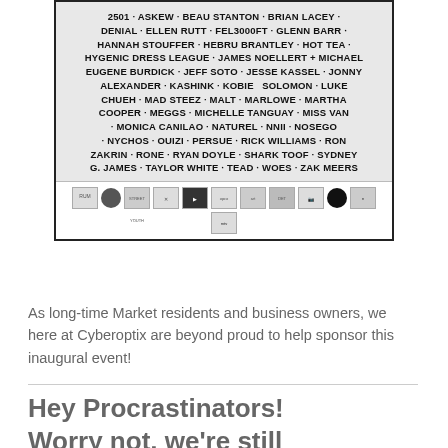[Figure (photo): Black and white photo of a sign or poster listing artist names: 2501, ASKEW, BEAU STANTON, BRIAN LACEY, DENIAL, ELLEN RUTT, FEL3000FT, GLENN BARR, HANNAH STOUFFER, HEBRU BRANTLEY, HOT TEA, HYGENIC DRESS LEAGUE, JAMES NOELLERT + MICHAEL EUGENE BURDICK, JEFF SOTO, JESSE KASSEL, JONNY ALEXANDER, KASHINK, KOBIE SOLOMON, LUKE CHUEH, MAD STEEZ, MALT, MARLOWE, MARTHA COOPER, MEGGS, MICHELLE TANGUAY, MISS VAN, MONICA CANILAO, NATUREL, NNII, NOSEGO, NYCHOS, OUIZI, PERSUE, RICK WILLIAMS, RON ZAKRIN, RONE, RYAN DOYLE, SHARK TOOF, SYDNEY G. JAMES, TAYLOR WHITE, TEAD, WOES, ZAK MEERS. Sponsor logos appear at the bottom.]
As long-time Market residents and business owners, we here at Cyberoptix are beyond proud to help sponsor this inaugural event!
Hey Procrastinators! Worry not, we're still here f...